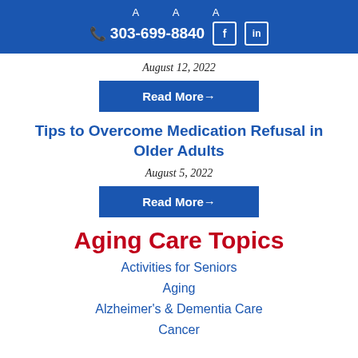A A A  303-699-8840
August 12, 2022
Read More→
Tips to Overcome Medication Refusal in Older Adults
August 5, 2022
Read More→
Aging Care Topics
Activities for Seniors
Aging
Alzheimer's & Dementia Care
Cancer